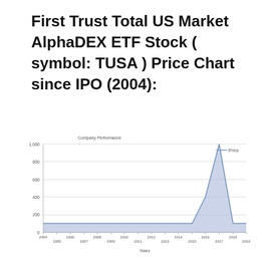First Trust Total US Market AlphaDEX ETF Stock ( symbol: TUSA ) Price Chart since IPO (2004):
[Figure (area-chart): Company Performance]